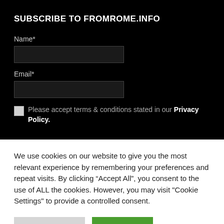SUBSCRIBE TO FROMROME.INFO
Name*
Email*
Please accept terms & conditions stated in our Privacy Policy.
We use cookies on our website to give you the most relevant experience by remembering your preferences and repeat visits. By clicking “Accept All”, you consent to the use of ALL the cookies. However, you may visit "Cookie Settings" to provide a controlled consent.